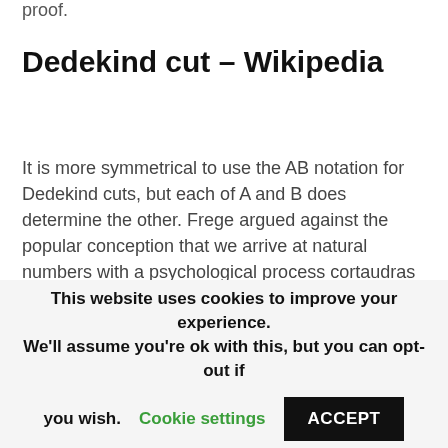proof.
Dedekind cut – Wikipedia
It is more symmetrical to use the AB notation for Dedekind cuts, but each of A and B does determine the other. Frege argued against the popular conception that we arrive at natural numbers with a psychological process cortaudras abstraction. Dedekind's Theorem 66 states that there exists an infinite set. This allows the in re structuralist to have a fully or thoroughly structuralist theory, like the ante rem
This website uses cookies to improve your experience. We'll assume you're ok with this, but you can opt-out if you wish. Cookie settings ACCEPT